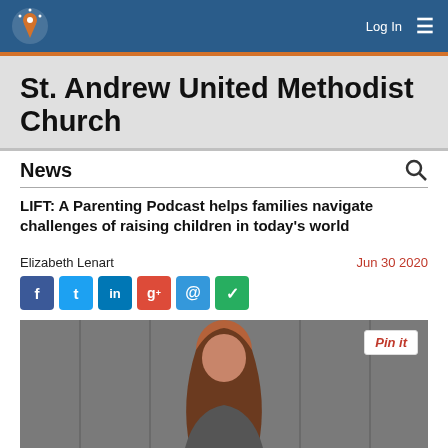St. Andrew United Methodist Church — Log In
St. Andrew United Methodist Church
News
LIFT: A Parenting Podcast helps families navigate challenges of raising children in today's world
Elizabeth Lenart
Jun 30 2020
[Figure (photo): Photograph of a woman with long brown hair, appearing to smile, photographed against a gray metal background]
Pin it